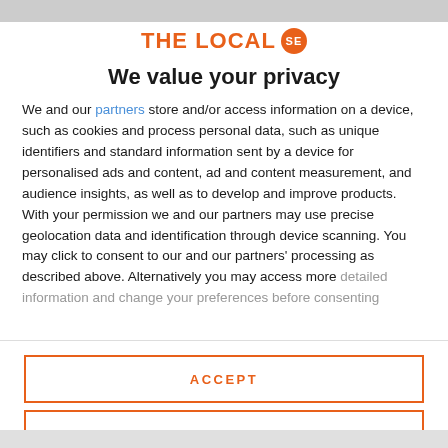[Figure (logo): THE LOCAL SE logo with orange text and orange circular badge with 'se']
We value your privacy
We and our partners store and/or access information on a device, such as cookies and process personal data, such as unique identifiers and standard information sent by a device for personalised ads and content, ad and content measurement, and audience insights, as well as to develop and improve products. With your permission we and our partners may use precise geolocation data and identification through device scanning. You may click to consent to our and our partners' processing as described above. Alternatively you may access more detailed information and change your preferences before consenting
ACCEPT
MORE OPTIONS